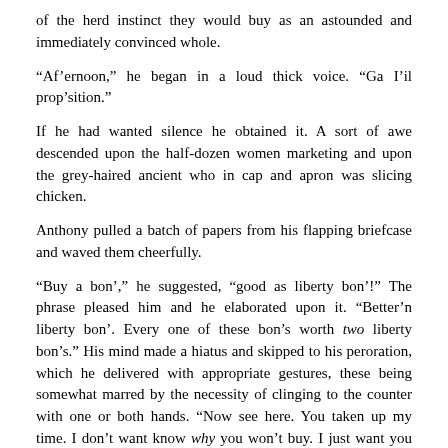of the herd instinct they would buy as an astounded and immediately convinced whole.
“Af’ernoon,” he began in a loud thick voice. “Ga I’il prop’sition.”
If he had wanted silence he obtained it. A sort of awe descended upon the half-dozen women marketing and upon the grey-haired ancient who in cap and apron was slicing chicken.
Anthony pulled a batch of papers from his flapping briefcase and waved them cheerfully.
“Buy a bon’,” he suggested, “good as liberty bon’!” The phrase pleased him and he elaborated upon it. “Better’n liberty bon’. Every one of these bon’s worth two liberty bon’s.” His mind made a hiatus and skipped to his peroration, which he delivered with appropriate gestures, these being somewhat marred by the necessity of clinging to the counter with one or both hands. “Now see here. You taken up my time. I don’t want know why you won’t buy. I just want you say why. Want you say how many!”
At this point they should have approached him with cheque-books and fountain-pens in hand. Realizing that they met the ancient home Anthony with the instinct of